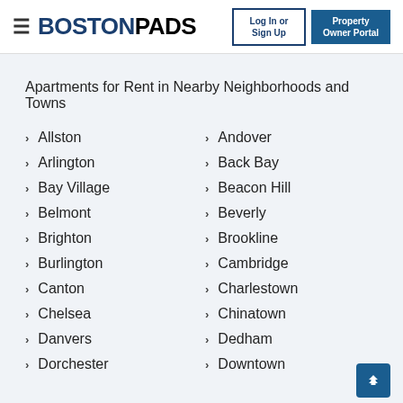BOSTONPADS — Log In or Sign Up | Property Owner Portal
Apartments for Rent in Nearby Neighborhoods and Towns
Allston
Andover
Arlington
Back Bay
Bay Village
Beacon Hill
Belmont
Beverly
Brighton
Brookline
Burlington
Cambridge
Canton
Charlestown
Chelsea
Chinatown
Danvers
Dedham
Dorchester
Downtown